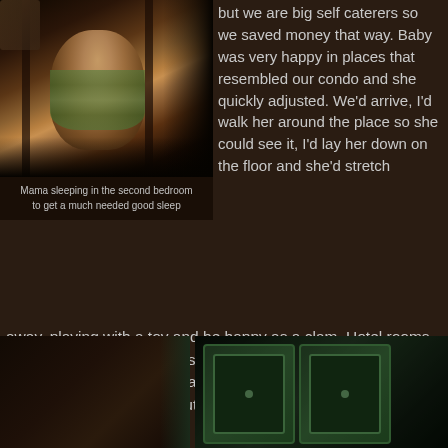[Figure (photo): Mama sleeping in the second bedroom bunk bed area, smiling at camera from between bunks]
Mama sleeping in the second bedroom to get a much needed good sleep
but we are big self caterers so we saved money that way. Baby was very happy in places that resembled our condo and she quickly adjusted. We'd arrive, I'd walk her around the place so she could see it, I'd lay her down on the floor and she'd stretch away, playing with a toy and be happy as a clam. Hotel rooms were harder because it was tough for us to have enough space to spread out or take a break, or have room to cook. This is what worked well for us, but again, everyone has their own priorities.
[Figure (photo): Dark room photo on left side, bottom of page]
[Figure (photo): Green crib or baby toy boards visible in dark room, bottom right of page]